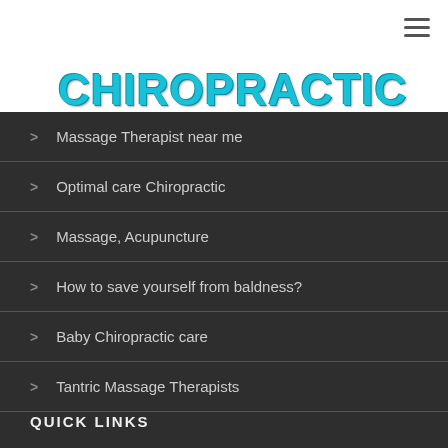[Figure (logo): Chiropractic for Life logo in cracked teal/cyan bold text]
Massage Therapist near me
Optimal care Chiropractic
Massage, Acupuncture
How to save yourself from baldness?
Baby Chiropractic care
Tantric Massage Therapists
QUICK LINKS